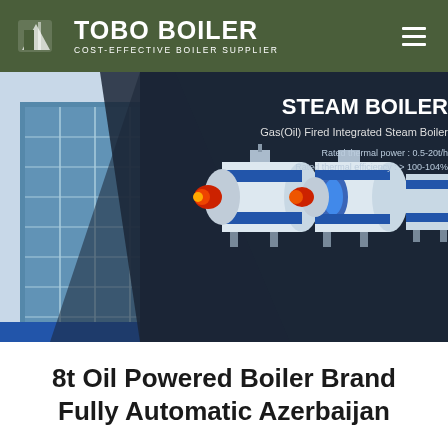TOBO BOILER — COST-EFFECTIVE BOILER SUPPLIER
[Figure (photo): Steam Boiler product banner showing Gas(Oil) Fired Integrated Steam Boiler with building facade on left and multiple cylindrical boiler units on right. Text overlay: STEAM BOILER, Gas(Oil) Fired Integrated Steam Boiler, Rated thermal power: 0.5-20t/h, Rated thermal efficiency: > 100-104%]
8t Oil Powered Boiler Brand Fully Automatic Azerbaijan